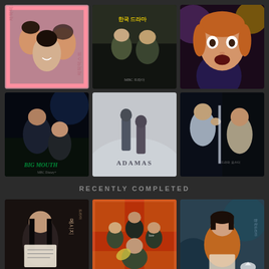[Figure (photo): Korean drama poster grid top row - 3 show posters]
[Figure (photo): Korean drama poster grid middle row - 3 show posters including Big Mouth and Adamas]
RECENTLY COMPLETED
[Figure (photo): Korean drama poster grid bottom row - 3 recently completed show posters]